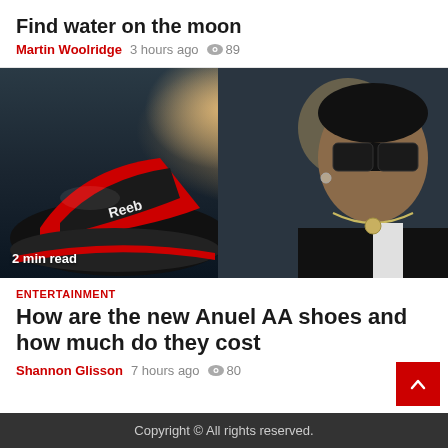Find water on the moon
Martin Woolridge  3 hours ago  89
[Figure (photo): Man in sunglasses and striped jacket holding up a red and black Reebok sneaker close to the camera, indoor setting with lamp in background. Overlay text reads '2 min read'.]
2 min read
ENTERTAINMENT
How are the new Anuel AA shoes and how much do they cost
Shannon Glisson  7 hours ago  80
Copyright © All rights reserved.